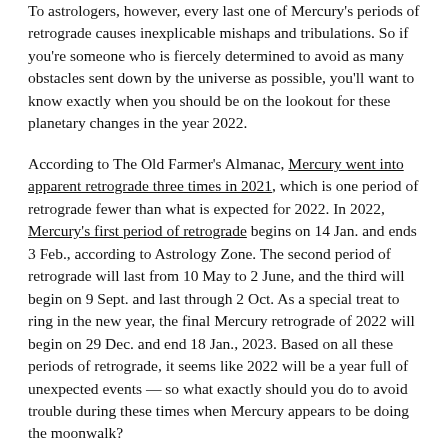To astrologers, however, every last one of Mercury's periods of retrograde causes inexplicable mishaps and tribulations. So if you're someone who is fiercely determined to avoid as many obstacles sent down by the universe as possible, you'll want to know exactly when you should be on the lookout for these planetary changes in the year 2022.
According to The Old Farmer's Almanac, Mercury went into apparent retrograde three times in 2021, which is one period of retrograde fewer than what is expected for 2022. In 2022, Mercury's first period of retrograde begins on 14 Jan. and ends 3 Feb., according to Astrology Zone. The second period of retrograde will last from 10 May to 2 June, and the third will begin on 9 Sept. and last through 2 Oct. As a special treat to ring in the new year, the final Mercury retrograde of 2022 will begin on 29 Dec. and end 18 Jan., 2023. Based on all these periods of retrograde, it seems like 2022 will be a year full of unexpected events — so what exactly should you do to avoid trouble during these times when Mercury appears to be doing the moonwalk?
Since Mercury is known by astrologers as the planet that rules all types of communication, it is important to be aware of what you